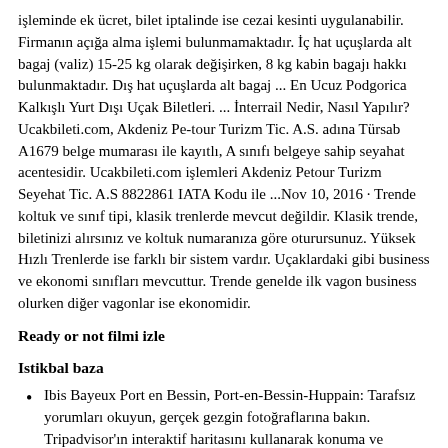işleminde ek ücret, bilet iptalinde ise cezai kesinti uygulanabilir. Firmanın açığa alma işlemi bulunmamaktadır. İç hat uçuşlarda alt bagaj (valiz) 15-25 kg olarak değişirken, 8 kg kabin bagajı hakkı bulunmaktadır. Dış hat uçuşlarda alt bagaj ... En Ucuz Podgorica Kalkışlı Yurt Dışı Uçak Biletleri. ... İnterrail Nedir, Nasıl Yapılır? Ucakbileti.com, Akdeniz Pe-tour Turizm Tic. A.S. adına Türsab A1679 belge mumarası ile kayıtlı, A sınıfı belgeye sahip seyahat acentesidir. Ucakbileti.com işlemleri Akdeniz Petour Turizm Seyehat Tic. A.S 8822861 IATA Kodu ile ...Nov 10, 2016 · Trende koltuk ve sınıf tipi, klasik trenlerde mevcut değildir. Klasik trende, biletinizi alırsınız ve koltuk numaranıza göre oturursunuz. Yüksek Hızlı Trenlerde ise farklı bir sistem vardır. Uçaklardaki gibi business ve ekonomi sınıfları mevcuttur. Trende genelde ilk vagon business olurken diğer vagonlar ise ekonomidir.
Ready or not filmi izle
Istikbal baza
Ibis Bayeux Port en Bessin, Port-en-Bessin-Huppain: Tarafsız yorumları okuyun, gerçek gezgin fotoğraflarına bakın. Tripadvisor'ın interaktif haritasını kullanarak konuma ve yakındaki restoran ve gezilecek yer seçeneklerine göz atın. Konaklamanız için fiyatları karşılaştırın ve en iyi teklifi alın.